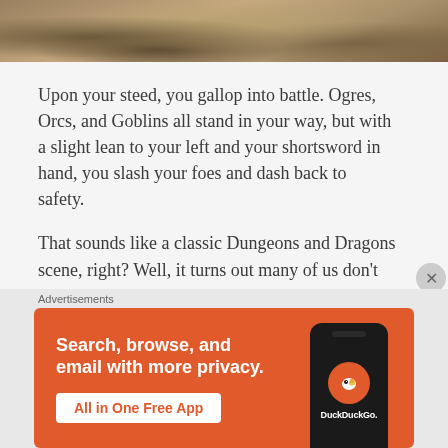[Figure (photo): Outdoor landscape photo showing rocky terrain with dry grass and earth tones, cropped to a horizontal strip at the top of the page.]
Upon your steed, you gallop into battle. Ogres, Orcs, and Goblins all stand in your way, but with a slight lean to your left and your shortsword in hand, you slash your foes and dash back to safety.
That sounds like a classic Dungeons and Dragons scene, right? Well, it turns out many of us don’t bother using a mount, let alone ride one into battle. When combat starts, some of us try to hide our horses because “if anyone dares touch Sir Galloper, this whole village will go up in flames!”
Advertisements
[Figure (photo): DuckDuckGo advertisement banner with orange background. Left side shows bold white text: 'Search, browse, and email with more privacy.' and a white button reading 'All in One Free App'. Right side shows a smartphone with the DuckDuckGo logo (duck icon in orange circle) and 'DuckDuckGo.' text.]